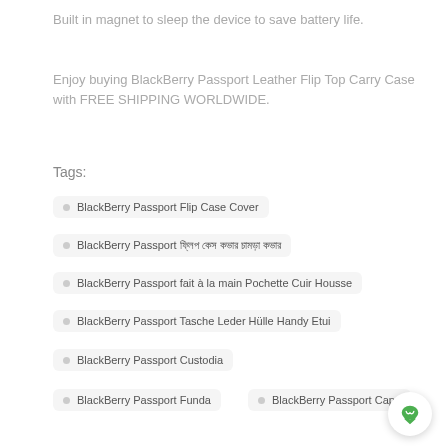Built in magnet to sleep the device to save battery life.
Enjoy buying BlackBerry Passport Leather Flip Top Carry Case with FREE SHIPPING WORLDWIDE.
Tags:
BlackBerry Passport Flip Case Cover
BlackBerry Passport ফ্লিপ কেস কভার চামড়া কভার
BlackBerry Passport fait à la main Pochette Cuir Housse
BlackBerry Passport Tasche Leder Hülle Handy Etui
BlackBerry Passport Custodia
BlackBerry Passport Funda
BlackBerry Passport Capa